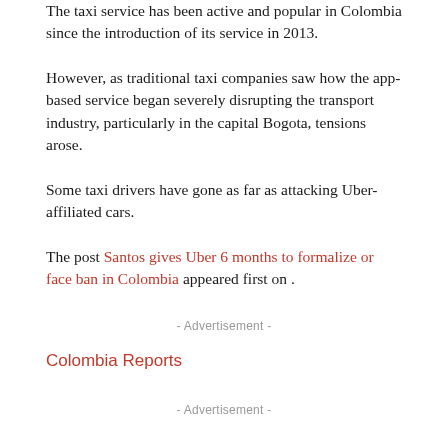The taxi service has been active and popular in Colombia since the introduction of its service in 2013.
However, as traditional taxi companies saw how the app-based service began severely disrupting the transport industry, particularly in the capital Bogota, tensions arose.
Some taxi drivers have gone as far as attacking Uber-affiliated cars.
The post Santos gives Uber 6 months to formalize or face ban in Colombia appeared first on .
- Advertisement -
Colombia Reports
- Advertisement -